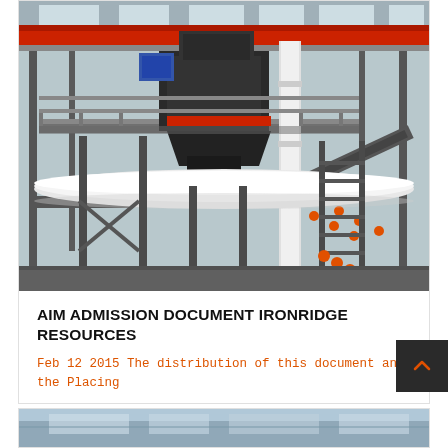[Figure (photo): Industrial factory interior showing heavy mining/crushing machinery on a multi-level platform structure with red overhead crane beams, conveyor belts with orange rollers, steel grating walkways, white cylindrical pipe, and a large vertical crusher unit. The facility has a high ceiling with skylights.]
AIM ADMISSION DOCUMENT IRONRIDGE RESOURCES
Feb 12 2015 The distribution of this document and the Placing
[Figure (photo): Partial view of another industrial or mining facility, visible at bottom of page.]